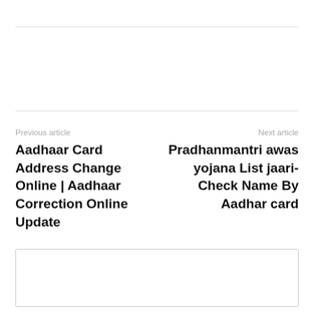Previous article
Aadhaar Card Address Change Online | Aadhaar Correction Online Update
Next article
Pradhanmantri awas yojana List jaari- Check Name By Aadhar card